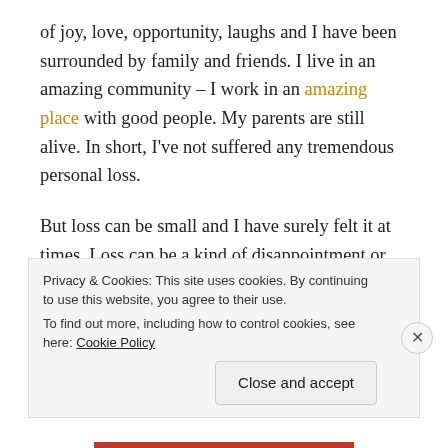of joy, love, opportunity, laughs and I have been surrounded by family and friends. I live in an amazing community – I work in an amazing place with good people. My parents are still alive. In short, I've not suffered any tremendous personal loss.
But loss can be small and I have surely felt it at times. Loss can be a kind of disappointment or inconvenience. Loss can be in sports, a broken leg or dislocated shoulder; it can be an inability to get that paper published, or a graduate student deciding to leave the [lab…]
Privacy & Cookies: This site uses cookies. By continuing to use this website, you agree to their use.
To find out more, including how to control cookies, see here: Cookie Policy
Close and accept